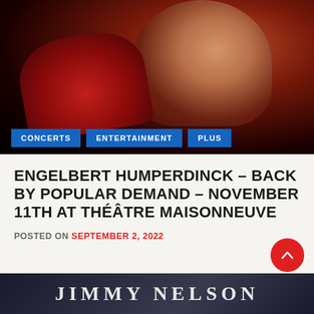[Figure (photo): Dark artistic portrait photo of Engelbert Humperdinck in red jacket against black background, profile/three-quarter view]
CONCERTS
ENTERTAINMENT
PLUS
ENGELBERT HUMPERDINCK – BACK BY POPULAR DEMAND – NOVEMBER 11TH AT THÉÂTRE MAISONNEUVE
POSTED ON SEPTEMBER 2, 2022
[Figure (photo): Bottom strip showing partial text 'JIMMY NELSON' in large serif letters on dark background]